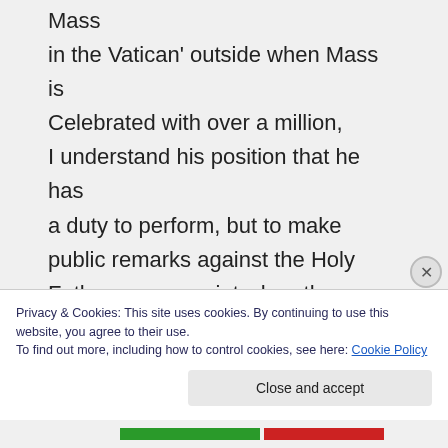Mass in the Vatican' outside when Mass is Celebrated with over a million, I understand his position that he has a duty to perform, but to make public remarks against the Holy Father on one point when there are others he ought to be thinking about! In Jesus's times marriage was different to todays marriage vows.
Privacy & Cookies: This site uses cookies. By continuing to use this website, you agree to their use. To find out more, including how to control cookies, see here: Cookie Policy
Close and accept